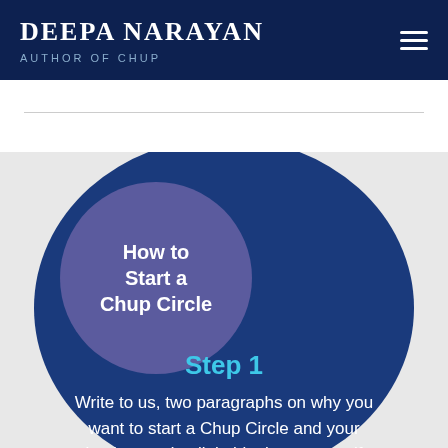DEEPA NARAYAN — AUTHOR OF CHUP
[Figure (infographic): Infographic showing 'How to Start a Chup Circle' with a small purple circle overlapping a large dark blue semicircle. The purple circle contains the title text. The blue circle contains 'Step 1' in cyan and body text about writing two paragraphs on why you want to start a Chup Circle and your background.]
How to Start a Chup Circle
Step 1
Write to us, two paragraphs on why you want to start a Chup Circle and your background, a little bit about yourself